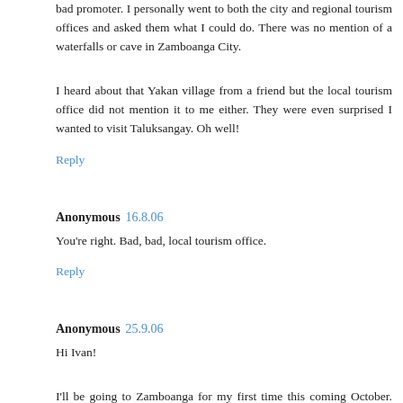bad promoter. I personally went to both the city and regional tourism offices and asked them what I could do. There was no mention of a waterfalls or cave in Zamboanga City.
I heard about that Yakan village from a friend but the local tourism office did not mention it to me either. They were even surprised I wanted to visit Taluksangay. Oh well!
Reply
Anonymous  16.8.06
You're right. Bad, bad, local tourism office.
Reply
Anonymous  25.9.06
Hi Ivan!
I'll be going to Zamboanga for my first time this coming October. Would you recommend the place you stayed at or